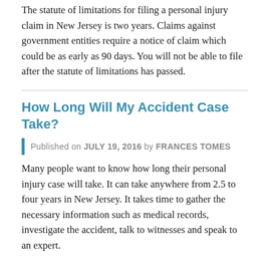The statute of limitations for filing a personal injury claim in New Jersey is two years. Claims against government entities require a notice of claim which could be as early as 90 days. You will not be able to file after the statute of limitations has passed.
How Long Will My Accident Case Take?
Published on JULY 19, 2016 by Frances Tomes
Many people want to know how long their personal injury case will take. It can take anywhere from 2.5 to four years in New Jersey. It takes time to gather the necessary information such as medical records, investigate the accident, talk to witnesses and speak to an expert.